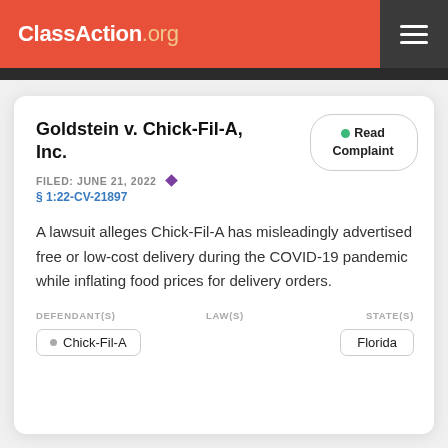ClassAction.org
Goldstein v. Chick-Fil-A, Inc.
FILED: JUNE 21, 2022
§ 1:22-CV-21897
A lawsuit alleges Chick-Fil-A has misleadingly advertised free or low-cost delivery during the COVID-19 pandemic while inflating food prices for delivery orders.
DEFENDANT(S): Chick-Fil-A | LAW(S): | STATE(S): Florida